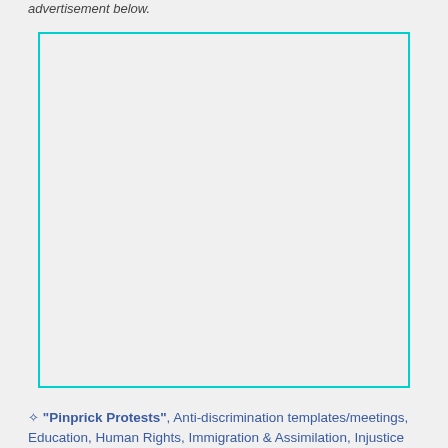advertisement below.
[Figure (other): Empty cyan-bordered advertisement placeholder box]
❧ "Pinprick Protests", Anti-discrimination templates/meetings, Education, Human Rights, Immigration & Assimilation, Injustice